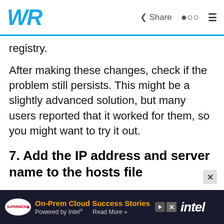WR — Share
registry.
After making these changes, check if the problem still persists. This might be a slightly advanced solution, but many users reported that it worked for them, so you might want to try it out.
7. Add the IP address and server name to the hosts file
Several users reported that they were unable to use Remote Desktop due to their host's file.
According to them, to fix the issue, you need to manually add the IP address and the server nam
[Figure (screenshot): Advertisement banner for Supermicro On-Prem Cloud Success Stories powered by Intel]